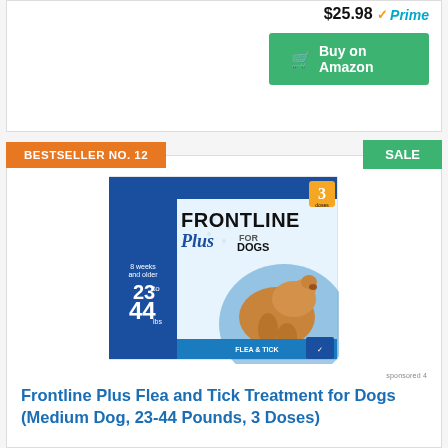$25.98 Prime
Buy on Amazon
BESTSELLER NO. 12
SALE
[Figure (photo): Frontline Plus Flea and Tick Treatment for Dogs product box showing a golden retriever, labeled for medium dogs 23-44 lbs, 3 doses]
Frontline Plus Flea and Tick Treatment for Dogs (Medium Dog, 23-44 Pounds, 3 Doses)
$34.98 Prime
Buy on Amazon